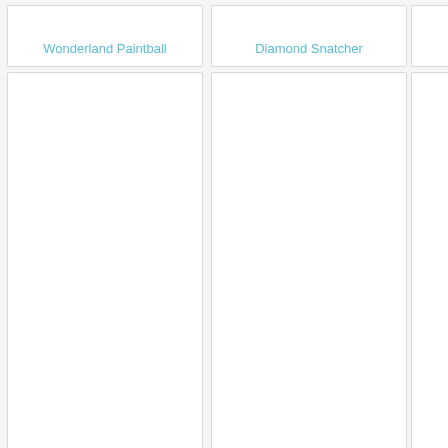Wonderland Paintball
Diamond Snatcher
Quest For The Silver Castle
Word Wrustler
Stacking Hats
Chimera IX